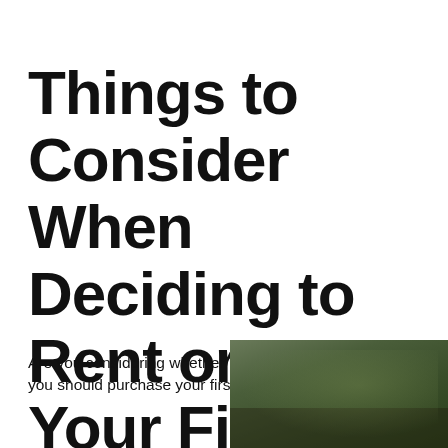Things to Consider When Deciding to Rent or Buy Your First Home
Are you considering whether you should purchase your first
[Figure (photo): Outdoor photo showing greenery and foliage, partially visible at bottom right of the page]